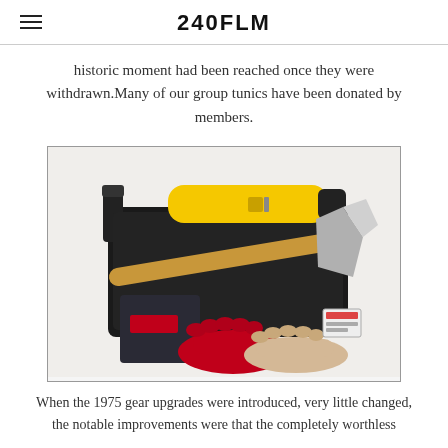240FLM
historic moment had been reached once they were withdrawn.Many of our group tunics have been donated by members.
[Figure (photo): Firefighting gear including a yellow nozzle/torch, an axe with wooden handle, a black equipment bag with strap, a small pouch with red label, and red rubber gloves with beige gloves.]
When the 1975 gear upgrades were introduced, very little changed, the notable improvements were that the completely worthless